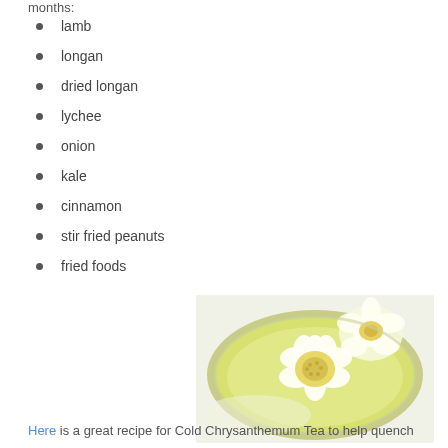months:
lamb
longan
dried longan
lychee
onion
kale
cinnamon
stir fried peanuts
fried foods
[Figure (photo): A glass bowl containing chrysanthemum tea with white flowers floating in pale yellow-green liquid]
Here is a great recipe for Cold Chrysanthemum Tea to help quench